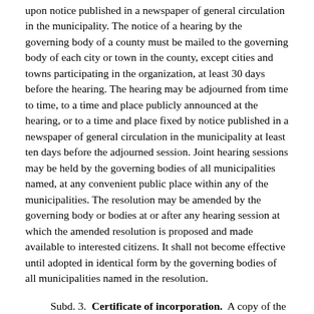upon notice published in a newspaper of general circulation in the municipality. The notice of a hearing by the governing body of a county must be mailed to the governing body of each city or town in the county, except cities and towns participating in the organization, at least 30 days before the hearing. The hearing may be adjourned from time to time, to a time and place publicly announced at the hearing, or to a time and place fixed by notice published in a newspaper of general circulation in the municipality at least ten days before the adjourned session. Joint hearing sessions may be held by the governing bodies of all municipalities named, at any convenient public place within any of the municipalities. The resolution may be amended by the governing body or bodies at or after any hearing session at which the amended resolution is proposed and made available to interested citizens. It shall not become effective until adopted in identical form by the governing bodies of all municipalities named in the resolution.
Subd. 3. Certificate of incorporation. A copy of the organization resolution, certified by the recording officer of each municipality adopting it, shall be filed with the secretary of state, who shall issue a certificate of incorporation if the